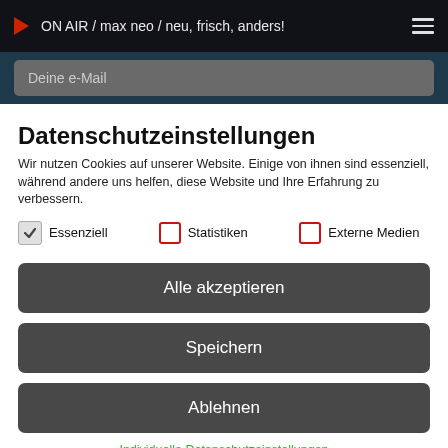ON AIR / max neo / neu, frisch, anders!
Deine e-Mail
Datenschutzeinstellungen
Wir nutzen Cookies auf unserer Website. Einige von ihnen sind essenziell, während andere uns helfen, diese Website und Ihre Erfahrung zu verbessern.
Essenziell
Statistiken
Externe Medien
Alle akzeptieren
Speichern
Ablehnen
Individuelle Datenschutzeinstellungen
Cookie-Details | Datenschutzerklärung | Impressum